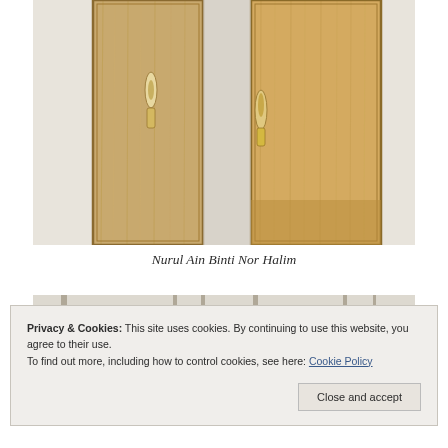[Figure (photo): Two open wooden cabinet or door panels with ornamental hardware (hinges/handles), mounted on a white wall. The wood has a light pine grain texture.]
Nurul Ain Binti Nor Halim
[Figure (photo): Partial view of another artwork or installation, partially obscured by the cookie consent banner. Shows a light-colored background with some hanging or standing elements.]
Privacy & Cookies: This site uses cookies. By continuing to use this website, you agree to their use. To find out more, including how to control cookies, see here: Cookie Policy
Close and accept